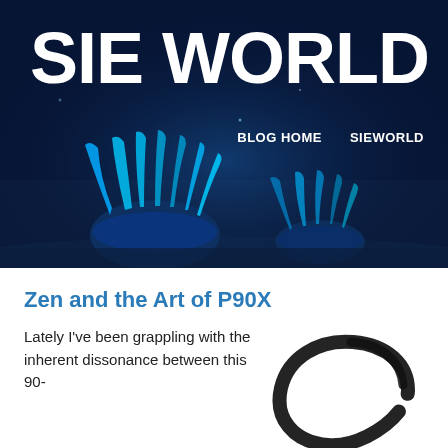[Figure (photo): Website header banner with deep blue background showing bioluminescent blue sea anemone/coral creatures on the ocean floor]
SIE WORLD
BLOG HOME    SIEWORLD
Zen and the Art of P90X
Lately I've been grappling with the inherent dissonance between this 90-
[Figure (illustration): Black ink Zen enso circle (brushstroke circle)]